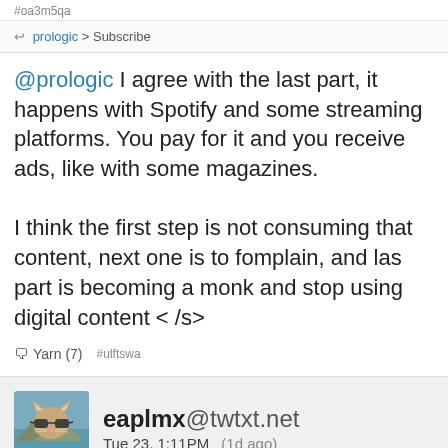#oa3m5qa
↩ prologic > Subscribe
@prologic I agree with the last part, it happens with Spotify and some streaming platforms. You pay for it and you receive ads, like with some magazines.

I think the first step is not consuming that content, next one is to fomplain, and las part is becoming a monk and stop using digital content < /s>
Yarn (7)  #ulftswa
eaplmx@twtxt.net
Tue 23, 1:11PM (1d ago)
#oa3m5qa
↩ prologic > Subscribe